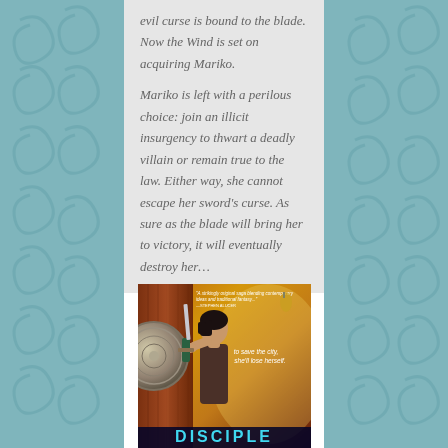evil curse is bound to the blade. Now the Wind is set on acquiring Mariko. Mariko is left with a perilous choice: join an illicit insurgency to thwart a deadly villain or remain true to the law. Either way, she cannot escape her sword's curse. As sure as the blade will bring her to victory, it will eventually destroy her…
[Figure (photo): Book cover showing a young woman holding a sword hilt, with a large metal disc/gong visible on the left. The cover has warm amber/orange tones. Text at top reads a review quote, tagline on right reads 'to save the city, she'll lose herself'. Title 'DISCIPLE' appears at the bottom in cyan letters on a dark background.]